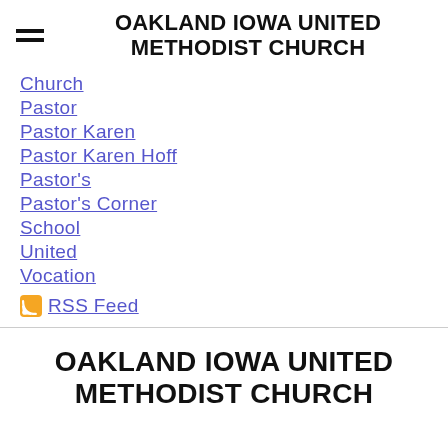OAKLAND IOWA UNITED METHODIST CHURCH
Church
Pastor
Pastor Karen
Pastor Karen Hoff
Pastor's
Pastor's Corner
School
United
Vocation
RSS Feed
OAKLAND IOWA UNITED METHODIST CHURCH